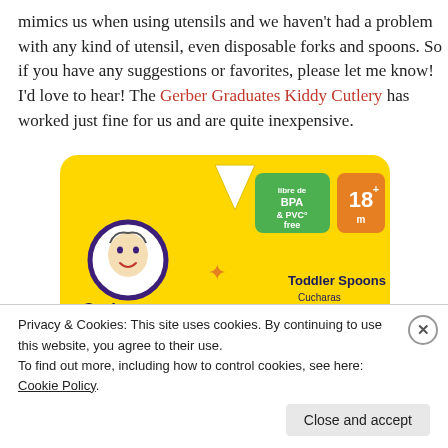mimics us when using utensils and we haven't had a problem with any kind of utensil, even disposable forks and spoons. So if you have any suggestions or favorites, please let me know! I'd love to hear! The Gerber Graduates Kiddy Cutlery has worked just fine for us and are quite inexpensive.
[Figure (photo): Gerber Graduates Kiddy Cutlery product packaging — yellow background with Gerber baby logo, BPA & PVC free badge (green), 18+ months badge (orange), 'Toddler Spoons / Cucharas para niños' text, and Graduates Cutlery branding in colorful letters.]
Privacy & Cookies: This site uses cookies. By continuing to use this website, you agree to their use. To find out more, including how to control cookies, see here: Cookie Policy